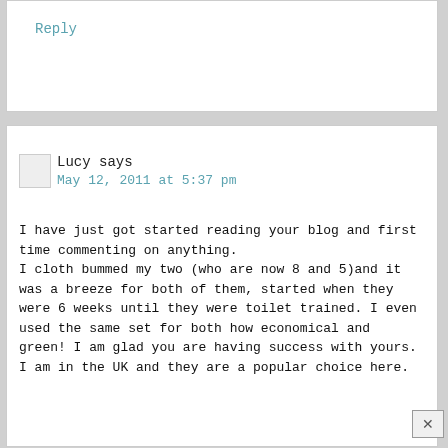Reply
Lucy says
May 12, 2011 at 5:37 pm
I have just got started reading your blog and first time commenting on anything.
I cloth bummed my two (who are now 8 and 5)and it was a breeze for both of them, started when they were 6 weeks until they were toilet trained. I even used the same set for both how economical and green! I am glad you are having success with yours.
I am in the UK and they are a popular choice here.
Reply